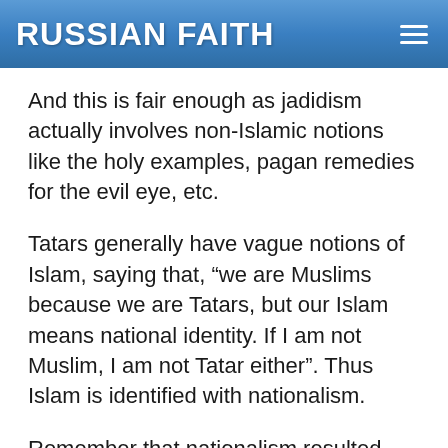RUSSIAN FAITH
And this is fair enough as jadidism actually involves non-Islamic notions like the holy examples, pagan remedies for the evil eye, etc.
Tatars generally have vague notions of Islam, saying that, “we are Muslims because we are Tatars, but our Islam means national identity. If I am not Muslim, I am not Tatar either”. Thus Islam is identified with nationalism.
Remember that nationalism resulted from damnation. According to the Bible, there were no nations before the Tower of Babel⁴⁷, and different nations resulted from the damnation of the Tower of Babel, to prevent them from building together a city in defiance of God. Thus deifying nation is